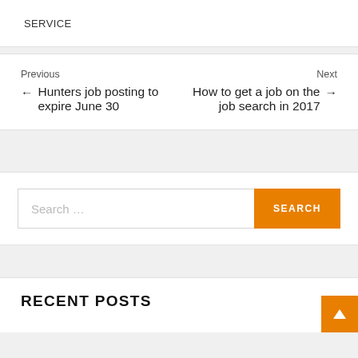SERVICE
Previous ← Hunters job posting to expire June 30   Next How to get a job on the job search in 2017 →
[Figure (screenshot): Search bar with text 'Search ...' and orange SEARCH button]
RECENT POSTS